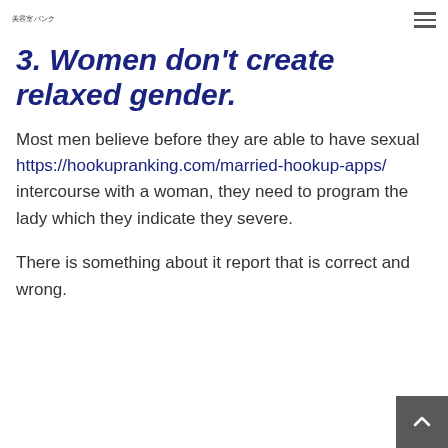美容室パンク
3. Women don't create relaxed gender.
Most men believe before they are able to have sexual https://hookupranking.com/married-hookup-apps/ intercourse with a woman, they need to program the lady which they indicate they severe.
There is something about it report that is correct and wrong.